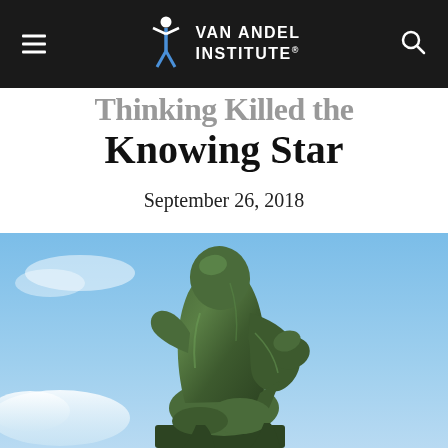Van Andel Institute
Thinking Killed the Knowing Star
September 26, 2018
[Figure (photo): Rodin's The Thinker bronze sculpture against a blue sky background]